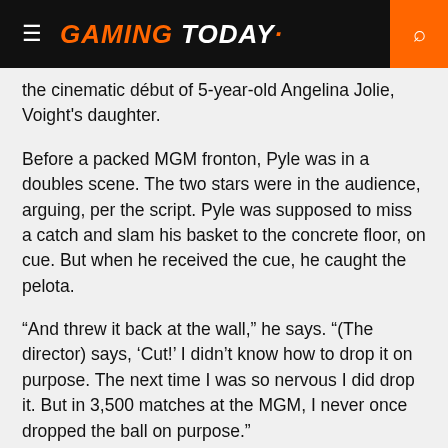GAMING TODAY
the cinematic début of 5-year-old Angelina Jolie, Voight's daughter.
Before a packed MGM fronton, Pyle was in a doubles scene. The two stars were in the audience, arguing, per the script. Pyle was supposed to miss a catch and slam his basket to the concrete floor, on cue. But when he received the cue, he caught the pelota.
“And threw it back at the wall,” he says. “(The director) says, ‘Cut!’ I didn’t know how to drop it on purpose. The next time I was so nervous I did drop it. But in 3,500 matches at the MGM, I never once dropped the ball on purpose.”
Filming wrapped on Nov. 21, 1980, the day of the tragic fire that killed 87 and injured hundreds. Pyle might have been awoken by Dunberg, his roommate, early that morning.